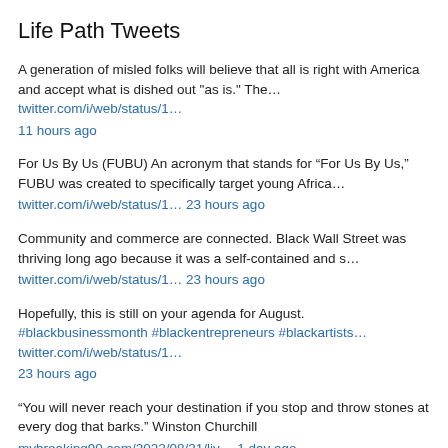Life Path Tweets
A generation of misled folks will believe that all is right with America and accept what is dished out "as is." The… twitter.com/i/web/status/1… 11 hours ago
For Us By Us (FUBU) An acronym that stands for “For Us By Us,” FUBU was created to specifically target young Africa… twitter.com/i/web/status/1… 23 hours ago
Community and commerce are connected. Black Wall Street was thriving long ago because it was a self-contained and s… twitter.com/i/web/status/1… 23 hours ago
Hopefully, this is still on your agenda for August. #blackbusinessmonth #blackentrepreneurs #blackartists… twitter.com/i/web/status/1… 23 hours ago
“You will never reach your destination if you stop and throw stones at every dog that barks.” Winston Churchill mybreaking90.com/2022/08/21/liv… 1 day ago